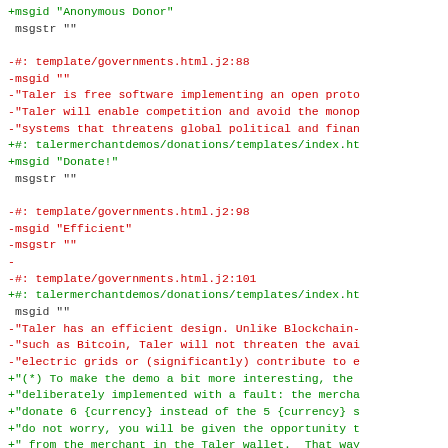diff/patch code showing localization file changes for government templates and donations templates